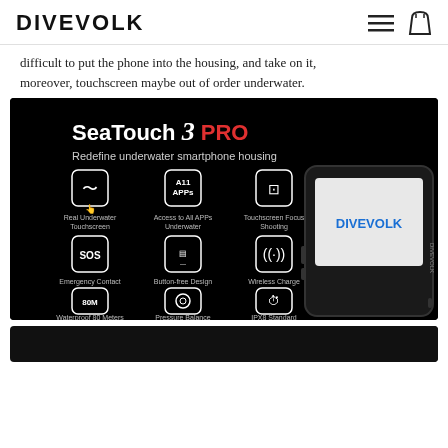DIVEVOLK
difficult to put the phone into the housing, and take on it, moreover, touchscreen maybe out of order underwater.
[Figure (photo): SeaTouch 3 PRO product feature infographic on black background showing: Real Underwater Touchscreen, Access to All APPs Underwater, Touchscreen Focus Shooting, Emergency Contact, Button-free Design, Wireless Charge, Waterproof 80 Meters, Pressure Balance, IPX8 Standard. Device shown with DIVEVOLK branding.]
[Figure (photo): Bottom banner image - partial view, black background with text beginning]